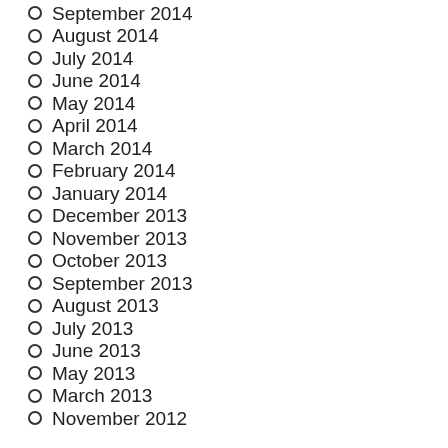September 2014
August 2014
July 2014
June 2014
May 2014
April 2014
March 2014
February 2014
January 2014
December 2013
November 2013
October 2013
September 2013
August 2013
July 2013
June 2013
May 2013
March 2013
November 2012